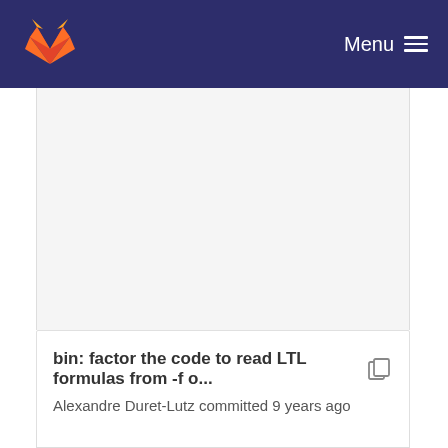Menu
[Figure (screenshot): GitLab logo (fox icon in orange and red) on dark navy header bar with Menu and hamburger icon on the right]
bin: factor the code to read LTL formulas from -f o...
Alexandre Duret-Lutz committed 9 years ago